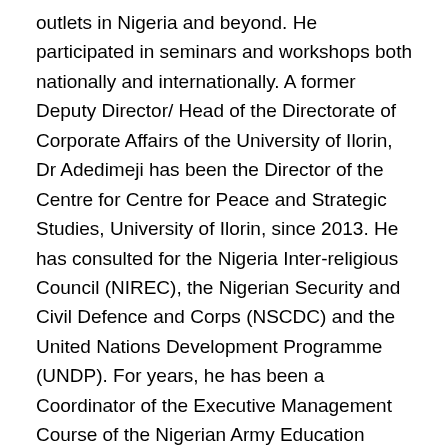outlets in Nigeria and beyond. He participated in seminars and workshops both nationally and internationally. A former Deputy Director/ Head of the Directorate of Corporate Affairs of the University of Ilorin, Dr Adedimeji has been the Director of the Centre for Centre for Peace and Strategic Studies, University of Ilorin, since 2013. He has consulted for the Nigeria Inter-religious Council (NIREC), the Nigerian Security and Civil Defence and Corps (NSCDC) and the United Nations Development Programme (UNDP). For years, he has been a Coordinator of the Executive Management Course of the Nigerian Army Education Corps (NAEC) and Editor-in-Chief of the "Journal of Peace, Security and Development", University of Ilorin. He is a recipient of several awards and honours including those of the American Biographical Institute, National Congress of Nigerian Students (NACONS), Union of Campus